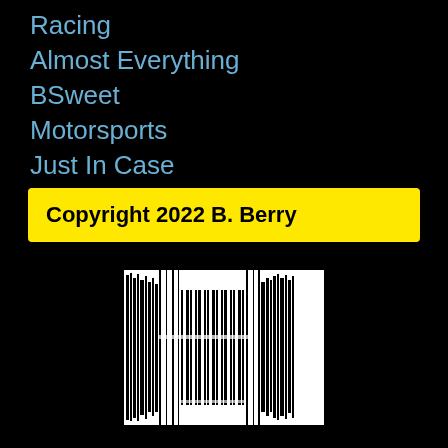Racing
Almost Everything
BSweet
Motorsports
Just In Case
Copyright 2022 B. Berry
[Figure (other): Barcode image, black and white vertical lines forming a barcode pattern on white background with black marks]